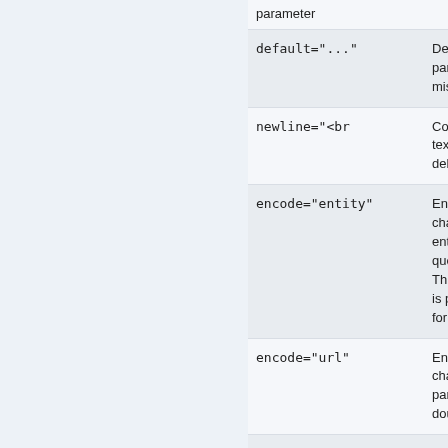| Parameter | Description |
| --- | --- |
| parameter | parameter |
| default="..." | Default value in parameter is e missing |
| newline="<br />" | Convert newline textarea to other delimiters |
| encode="entity" | Encode special characters into entities, like a double quote into &#03. This is needed is put into an HTML form field |
| encode="url" | Encode special characters for URL parameter use double quote in |
| multiple="on" | If set, gets all selected elements a <select multiple="mult |